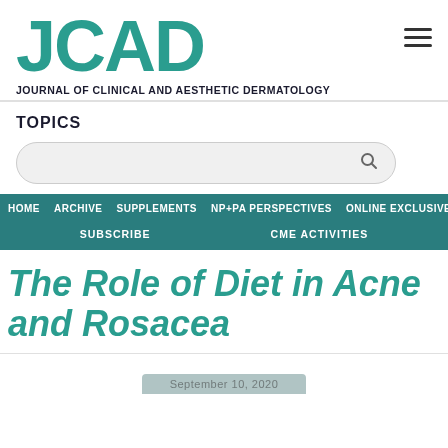JCAD
JOURNAL OF CLINICAL AND AESTHETIC DERMATOLOGY
TOPICS
HOME ARCHIVE SUPPLEMENTS NP+PA PERSPECTIVES ONLINE EXCLUSIVES
SUBSCRIBE   CME ACTIVITIES
The Role of Diet in Acne and Rosacea